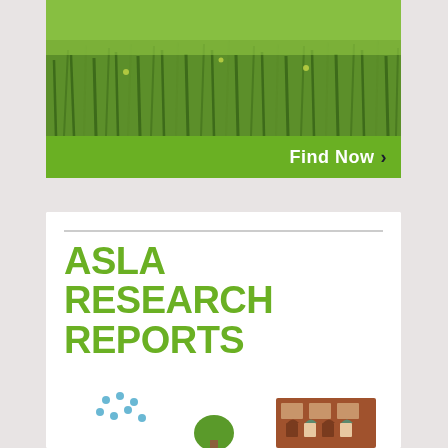[Figure (photo): Green grass meadow field photo banner]
Find Now >
[Figure (illustration): ASLA Research Reports cover with rain drops and building illustrations]
ASLA RESEARCH REPORTS